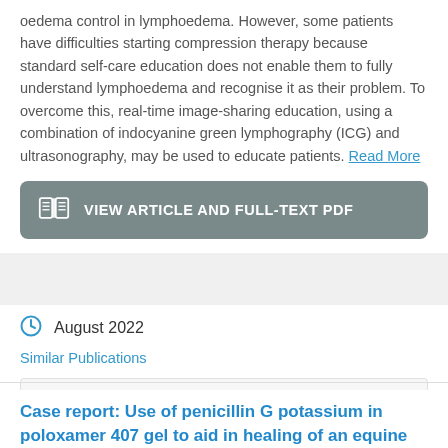oedema control in lymphoedema. However, some patients have difficulties starting compression therapy because standard self-care education does not enable them to fully understand lymphoedema and recognise it as their problem. To overcome this, real-time image-sharing education, using a combination of indocyanine green lymphography (ICG) and ultrasonography, may be used to educate patients. Read More
[Figure (other): Button with book icon and text VIEW ARTICLE AND FULL-TEXT PDF on a dark grey/teal background]
August 2022
Similar Publications
[Figure (other): Social sharing bar with Facebook (f), Twitter (bird icon), and LinkedIn (in) icons]
Case report: Use of penicillin G potassium in poloxamer 407 gel to aid in healing of an equine